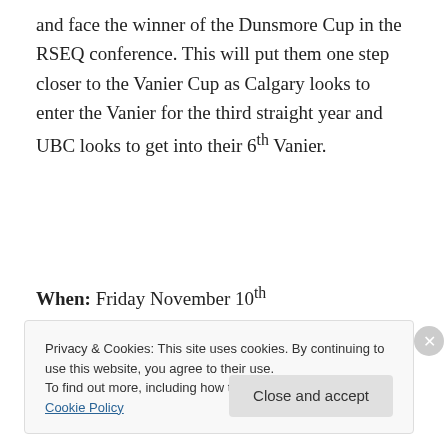and face the winner of the Dunsmore Cup in the RSEQ conference. This will put them one step closer to the Vanier Cup as Calgary looks to enter the Vanier for the third straight year and UBC looks to get into their 6th Vanier.
When: Friday November 10th
[Figure (other): WordPress VIP advertisement banner with colorful background, WordPress logo, 'vip' text, and 'Learn more' button with arrow]
Privacy & Cookies: This site uses cookies. By continuing to use this website, you agree to their use. To find out more, including how to control cookies, see here: Cookie Policy
Close and accept